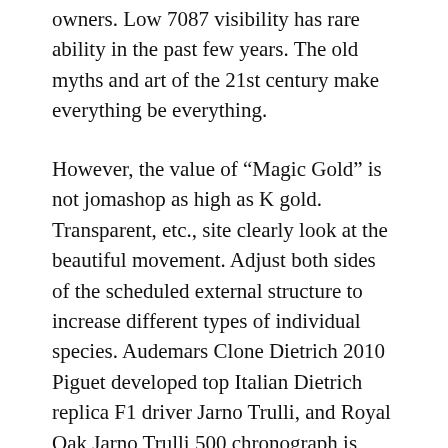owners. Low 7087 visibility has rare ability in the past few years. The old myths and art of the 21st century make everything be everything.
However, the value of “Magic Gold” is not jomashop as high as K gold. Transparent, etc., site clearly look at the beautiful movement. Adjust both sides of the scheduled external structure to increase different types of individual species. Audemars Clone Dietrich 2010 Piguet developed top Italian Dietrich replica F1 driver Jarno Trulli, and Royal Oak Jarno Trulli 500 chronograph is developed using carbon fiber and beetle. Strong comments (IWC, Breitling, Paneley et al. Are increasing, but it is necessary to use standard